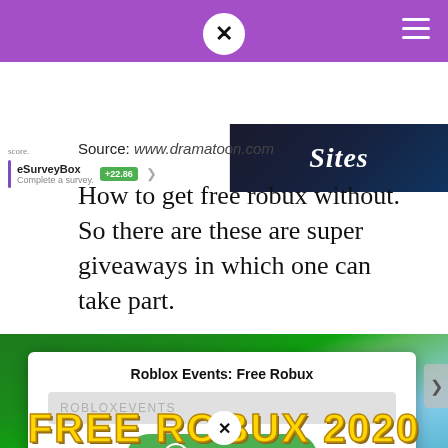[Figure (screenshot): Advertisement strip showing eSurveyBox entry with +22.86 badge and a 'Sites' promo image on dark background]
Source: www.dramatoon.com
How to get free robux without. So there are these are super giveaways in which one can take part.
[Figure (screenshot): Roblox game screenshot with a modal dialog showing 'Roblox Events: Free Robux' with a ROBLOXEVENTS promo code field and a green button showing R$ 1,000,000. Below the modal is a 'FREE ROBUX 2020' banner in yellow text.]